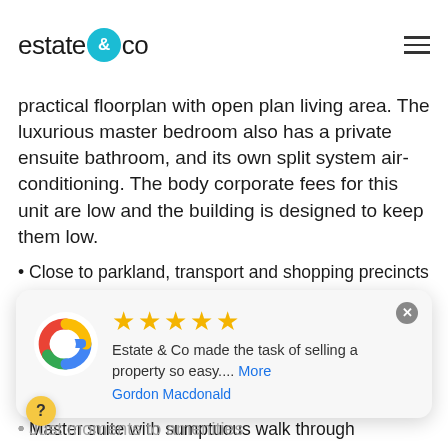estate & co
exceptionally light-filled interiors of... and expectation. Spacious and ultra-modern, this apartment offers a practical floorplan with open plan living area. The luxurious master bedroom also has a private ensuite bathroom, and its own split system air-conditioning. The body corporate fees for this unit are low and the building is designed to keep them low.
Close to parkland, transport and shopping precincts
NBN ready
Popular Upper Mount Gravatt growth corridor
Level 1
Air-conditioned family living area for summer comfort
Master suite with sumptuous walk through
[Figure (other): Google review popup with 5 stars rating. Text: Estate & Co made the task of selling a property so easy.... More. Author: Gordon Macdonald]
Just moments to amenities